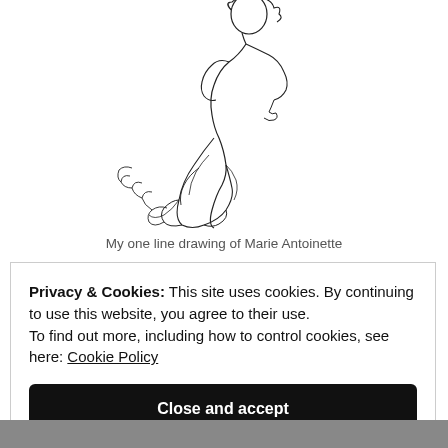[Figure (illustration): A line drawing illustration of Marie Antoinette, a woman figure in flowing dress with elaborate hair, rendered in a single continuous line sketch style, centered on white background.]
My one line drawing of Marie Antoinette
Privacy & Cookies: This site uses cookies. By continuing to use this website, you agree to their use. To find out more, including how to control cookies, see here: Cookie Policy
Close and accept